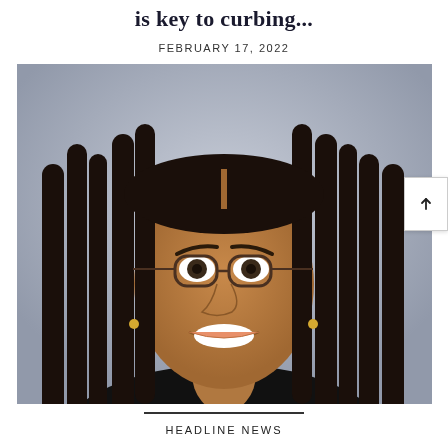is key to curbing...
FEBRUARY 17, 2022
[Figure (photo): Portrait photo of a young woman with long braided hair and round glasses, smiling, wearing a dark top, against a gray background.]
HEADLINE NEWS